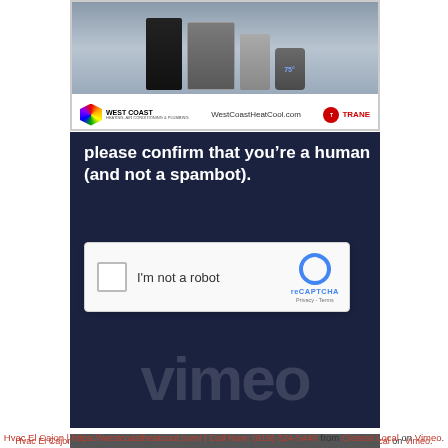[Figure (photo): HVAC equipment advertisement showing air conditioning units with West Coast Heat Cool branding and Trane logo, URL WestCoastHeatCool.com shown]
[Figure (screenshot): Dark navy blue CAPTCHA verification screen with text 'please confirm that you're a human (and not a spambot).' and a reCAPTCHA widget with 'I'm not a robot' checkbox. Vimeo watermark visible in background.]
Hvac El Cajon | https://westcoastheatcool.com/ | Call Now: (619) 324-5440 from Closest Local on Vimeo.
[Figure (screenshot): Bottom strip of a dark video player interface]